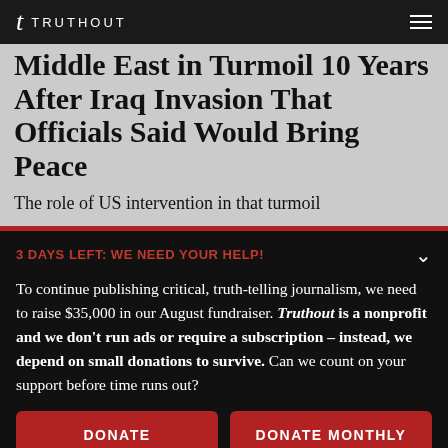t TRUTHOUT
Middle East in Turmoil 10 Years After Iraq Invasion That Officials Said Would Bring Peace
The role of US intervention in that turmoil
3 DAYS LEFT: WE NEED YOUR HELP!
To continue publishing critical, truth-telling journalism, we need to raise $35,000 in our August fundraiser. Truthout is a nonprofit and we don't run ads or require a subscription – instead, we depend on small donations to survive. Can we count on your support before time runs out?
DONATE
DONATE MONTHLY